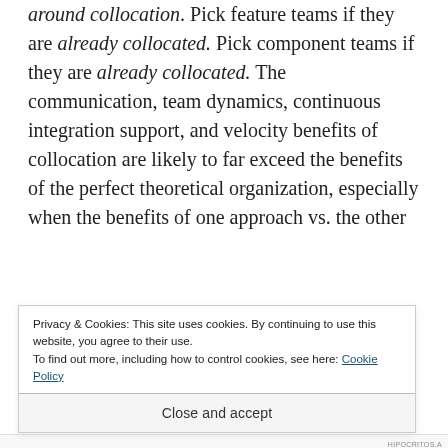around collocation. Pick feature teams if they are already collocated. Pick component teams if they are already collocated. The communication, team dynamics, continuous integration support, and velocity benefits of collocation are likely to far exceed the benefits of the perfect theoretical organization, especially when the benefits of one approach vs. the other
Privacy & Cookies: This site uses cookies. By continuing to use this website, you agree to their use.
To find out more, including how to control cookies, see here: Cookie Policy
Close and accept